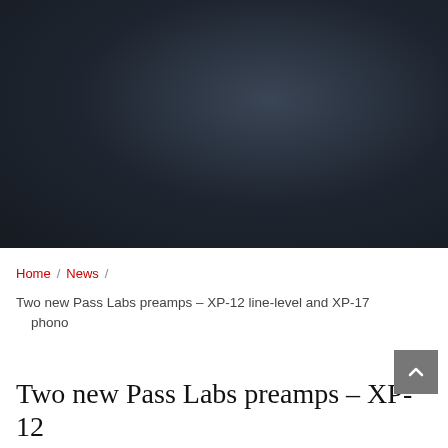[Figure (photo): Dark gradient hero image background, dark navy/charcoal color with subtle radial highlight]
Home / News / Two new Pass Labs preamps – XP-12 line-level and XP-17 phono
Two new Pass Labs preamps – XP-12